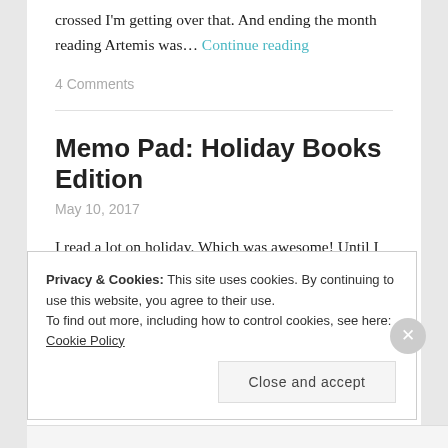crossed I'm getting over that. And ending the month reading Artemis was… Continue reading
4 Comments
Memo Pad: Holiday Books Edition
May 10, 2017
I read a lot on holiday. Which was awesome! Until I got
Privacy & Cookies: This site uses cookies. By continuing to use this website, you agree to their use.
To find out more, including how to control cookies, see here: Cookie Policy
Close and accept